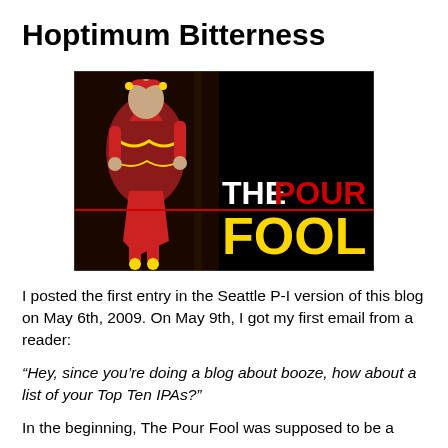Hoptimum Bitterness
[Figure (photo): The Pour Fool blog logo: a jester/fool figure in red costume on left, black background, white text 'THE', red text 'POUR', yellow text 'FOOL']
I posted the first entry in the Seattle P-I version of this blog on May 6th, 2009. On May 9th, I got my first email from a reader:
“Hey, since you’re doing a blog about booze, how about a list of your Top Ten IPAs?”
In the beginning, The Pour Fool was supposed to be a